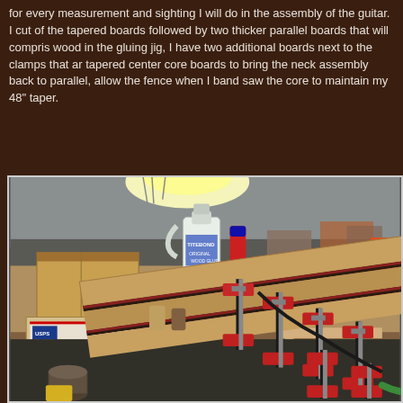for every measurement and sighting I will do in the assembly of the guitar. I cut of the tapered boards followed by two thicker parallel boards that will comprise wood in the gluing jig, I have two additional boards next to the clamps that are tapered center core boards to bring the neck assembly back to parallel, allow the fence when I band saw the core to maintain my 48" taper.
[Figure (photo): Workshop photo showing a guitar neck gluing jig with multiple red-handled bar clamps clamping laminated wood strips/boards on a workbench. Background shows a cluttered garage workshop with a USPS priority mail box, cardboard boxes, a plastic gallon jug, tools, and various workshop supplies.]